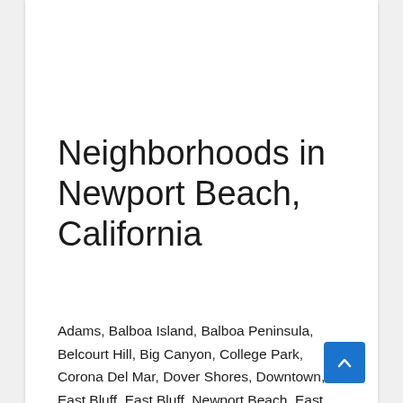Neighborhoods in Newport Beach, California
Adams, Balboa Island, Balboa Peninsula, Belcourt Hill, Big Canyon, College Park, Corona Del Mar, Dover Shores, Downtown, East Bluff, East Bluff, Newport Beach, East Side Costa Mesa, Fashion Island, Galaxy View Park, Garfield